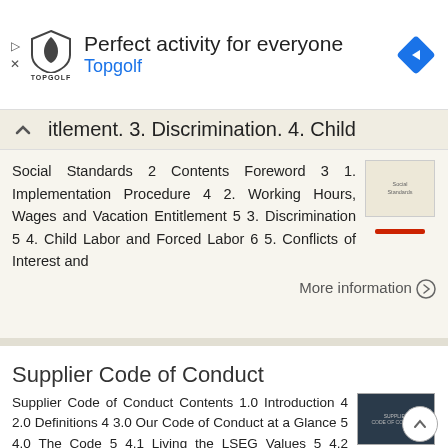[Figure (other): Topgolf advertisement banner with shield logo, 'Perfect activity for everyone' headline, Topgolf link in blue, and navigation arrow icon]
itlement. 3. Discrimination. 4. Child
Social Standards 2 Contents Foreword 3 1. Implementation Procedure 4 2. Working Hours, Wages and Vacation Entitlement 5 3. Discrimination 5 4. Child Labor and Forced Labor 6 5. Conflicts of Interest and
More information →
Supplier Code of Conduct
Supplier Code of Conduct Contents 1.0 Introduction 4 2.0 Definitions 4 3.0 Our Code of Conduct at a Glance 5 4.0 The Code 5 4.1 Living the LSEG Values 5 4.2 Environmental Management 6 4.3 Human and Social